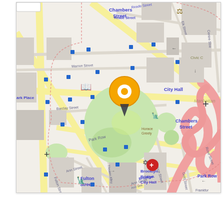[Figure (map): Street map of Lower Manhattan, New York City, showing City Hall area with Brooklyn Bridge-City Hall station, Chambers Street, Park Row, Fulton Street, Ann Street, Spruce Street, Gold Street, Frankfort Street, Barclay Street, Warren Street, Reade Street. An orange location pin marker is placed near City Hall. Blue square transit markers dot the streets. Pink/salmon colored road interchanges visible on right side. Green park areas visible. Various religious and landmark icons shown.]